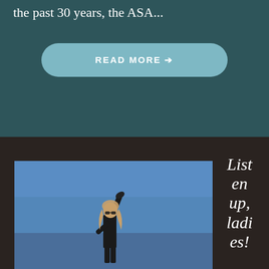the past 30 years, the ASA...
READ MORE →
[Figure (photo): Person in black clothing with arm raised holding an object against a blue sky background]
Listen up, ladies!